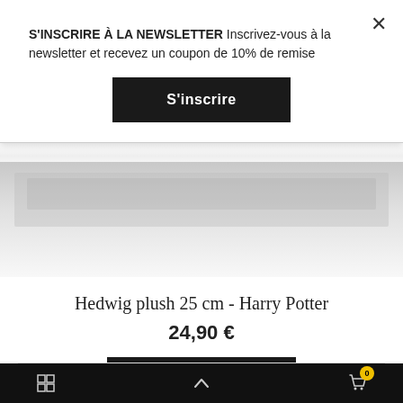S'INSCRIRE À LA NEWSLETTER Inscrivez-vous à la newsletter et recevez un coupon de 10% de remise
S'inscrire
Hedwig plush 25 cm - Harry Potter
24,90 €
ADD TO CART